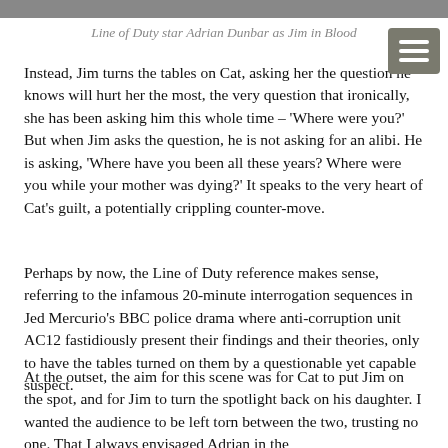[Figure (photo): Partial image strip at top of page, cropped photograph]
Line of Duty star Adrian Dunbar as Jim in Blood
Instead, Jim turns the tables on Cat, asking her the question he knows will hurt her the most, the very question that ironically, she has been asking him this whole time – ‘Where were you?’ But when Jim asks the question, he is not asking for an alibi. He is asking, ‘Where have you been all these years? Where were you while your mother was dying?’ It speaks to the very heart of Cat’s guilt, a potentially crippling counter-move.
Perhaps by now, the Line of Duty reference makes sense, referring to the infamous 20-minute interrogation sequences in Jed Mercurio’s BBC police drama where anti-corruption unit AC12 fastidiously present their findings and their theories, only to have the tables turned on them by a questionable yet capable suspect.
At the outset, the aim for this scene was for Cat to put Jim on the spot, and for Jim to turn the spotlight back on his daughter. I wanted the audience to be left torn between the two, trusting no one. That I always envisaged Adrian in the